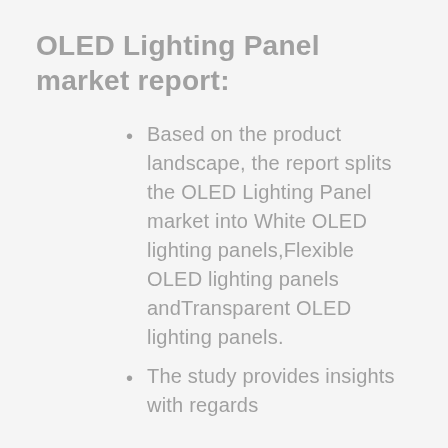OLED Lighting Panel market report:
Based on the product landscape, the report splits the OLED Lighting Panel market into White OLED lighting panels,Flexible OLED lighting panels andTransparent OLED lighting panels.
The study provides insights with regards